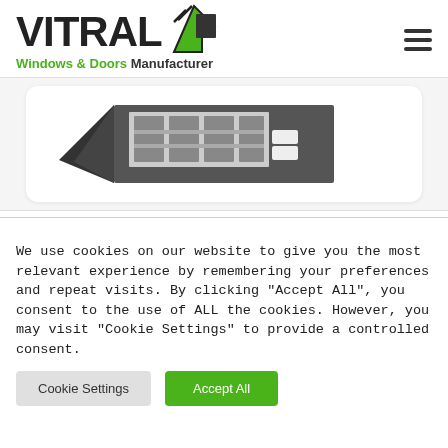[Figure (logo): VITRAL Windows & Doors Manufacturer logo with green arrow/diamond icon]
[Figure (photo): Cross-section of an aluminum window/door frame profile showing internal structure]
We use cookies on our website to give you the most relevant experience by remembering your preferences and repeat visits. By clicking "Accept All", you consent to the use of ALL the cookies. However, you may visit "Cookie Settings" to provide a controlled consent.
Cookie Settings
Accept All